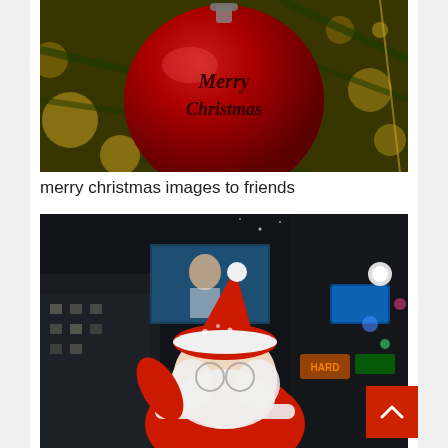[Figure (photo): Close-up photograph of a red Christmas ornament ball with 'Merry Christmas' text on it, hanging on a Christmas tree with bokeh lights in the background]
merry christmas images to friends
[Figure (photo): Night city scene with Santa Claus in the foreground wearing red suit and white beard, with illuminated city buildings and neon signs in the background]
[Figure (other): Red scroll-to-top button with upward arrow chevron in bottom right corner]